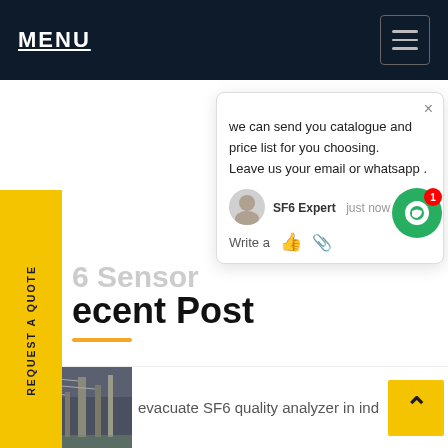MENU
REQUEST A QUOTE
we can send you catalogue and price list for you choosing.
Leave us your email or whatsapp .
SF6 Expert   just now
Write a
SF6 Sensor
Recent Post
[Figure (photo): Industrial facility photo showing power equipment/substation infrastructure]
evacuate SF6 quality analyzer in ind